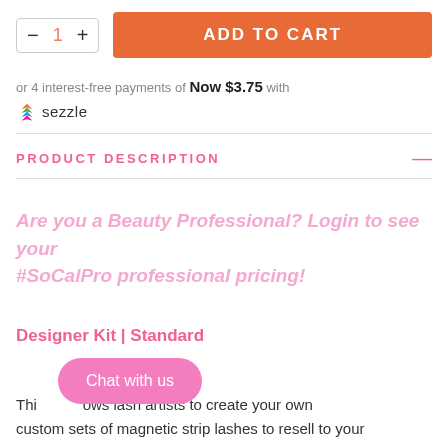[Figure (screenshot): E-commerce product page section showing quantity selector with minus/plus buttons and quantity 1, alongside an orange Add to Cart button]
or 4 interest-free payments of Now $3.75 with sezzle
PRODUCT DESCRIPTION
Are you a Beauty Professional? Login to see your #SoCalPro professional pricing!
Designer Kit | Standard
Chat with us
This [kit] allows lash artists to create your own custom sets of magnetic strip lashes to resell to your